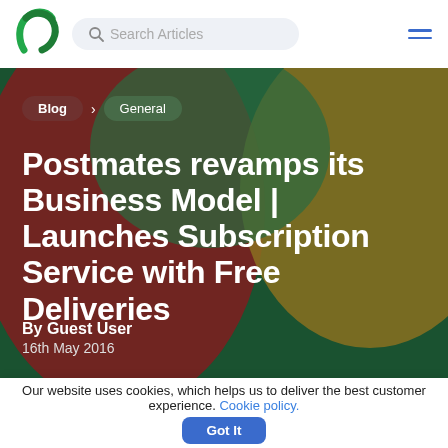Search Articles
[Figure (illustration): Abstract blob hero background with dark green, dark red, and olive/yellow-green colored organic shapes]
Blog > General
Postmates revamps its Business Model | Launches Subscription Service with Free Deliveries
By Guest User
16th May 2016
Our website uses cookies, which helps us to deliver the best customer experience. Cookie policy. Got It